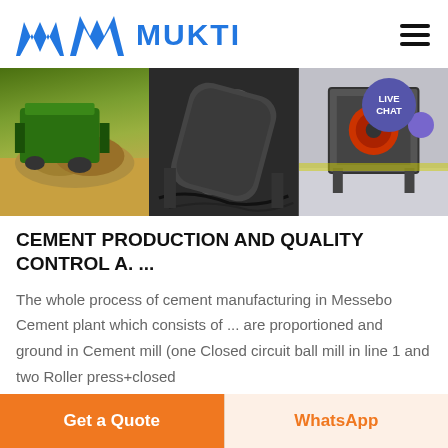MUKTI
[Figure (photo): Three-panel banner image: left panel shows green crushing machine with rock pile on sandy ground; center panel shows a large cylindrical rotary kiln or industrial drum in dark industrial setting; right panel shows industrial machinery equipment in a factory floor.]
CEMENT PRODUCTION AND QUALITY CONTROL A. ...
The whole process of cement manufacturing in Messebo Cement plant which consists of ... are proportioned and ground in Cement mill (one Closed circuit ball mill in line 1 and two Roller press+closed
Get a Quote    WhatsApp